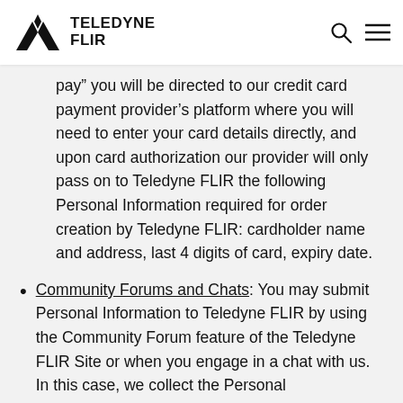TELEDYNE FLIR
pay” you will be directed to our credit card payment provider’s platform where you will need to enter your card details directly, and upon card authorization our provider will only pass on to Teledyne FLIR the following Personal Information required for order creation by Teledyne FLIR: cardholder name and address, last 4 digits of card, expiry date.
Community Forums and Chats: You may submit Personal Information to Teledyne FLIR by using the Community Forum feature of the Teledyne FLIR Site or when you engage in a chat with us. In this case, we collect the Personal